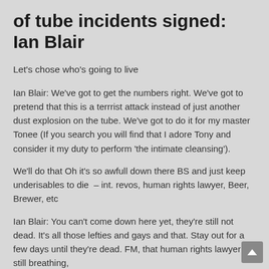of tube incidents signed: Ian Blair
Let's chose who's going to live
Ian Blair: We've got to get the numbers right. We've got to pretend that this is a terrrist attack instead of just another dust explosion on the tube. We've got to do it for my master Tonee (If you search you will find that I adore Tony and consider it my duty to perform 'the intimate cleansing').
We'll do that Oh it's so awfull down there BS and just keep underisables to die  – int. revos, human rights lawyer, Beer, Brewer, etc
Ian Blair: You can't come down here yet, they're still not dead. It's all those lefties and gays and that. Stay out for a few days until they're dead. FM, that human rights lawyer is still breathing,